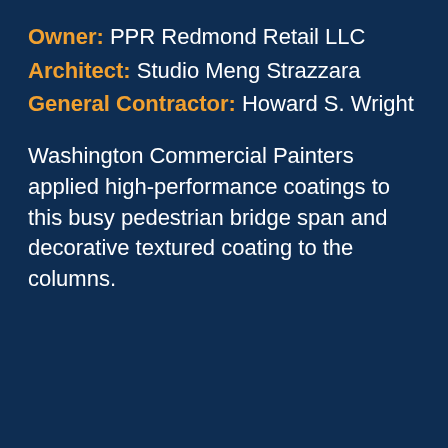Owner: PPR Redmond Retail LLC
Architect: Studio Meng Strazzara
General Contractor: Howard S. Wright
Washington Commercial Painters applied high-performance coatings to this busy pedestrian bridge span and decorative textured coating to the columns.